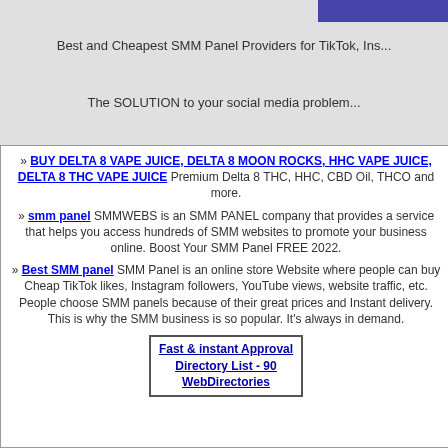Best and Cheapest SMM Panel Providers for TikTok, Ins...
The SOLUTION to your social media problem...
» BUY DELTA 8 VAPE JUICE, DELTA 8 MOON ROCKS, HHC VAPE JUICE, DELTA 8 THC VAPE JUICE Premium Delta 8 THC, HHC, CBD Oil, THCO and more.
» smm panel SMMWEBS is an SMM PANEL company that provides a service that helps you access hundreds of SMM websites to promote your business online. Boost Your SMM Panel FREE 2022.
» Best SMM panel SMM Panel is an online store Website where people can buy Cheap TikTok likes, Instagram followers, YouTube views, website traffic, etc. People choose SMM panels because of their great prices and Instant delivery. This is why the SMM business is so popular. It's always in demand.
Fast & instant Approval Directory List - 90 WebDirectories
Clean Green Directory.com » Reference » Time
Regular Listing
cialis fast shipping
generic viagra The profes... documents validating the... effective now, check whe... https://www.apostle-paul.
Date Added: Saturday, Ju...
chia sjemenke i bubrezi...
Hello! My name is Angus... different countries, to obta... day-on-the-keto-diet-75 w... https://no.health-cp.com/
Date Added: Wednesday,...
https://audreycleo.com/?p...
Date Added: Saturday, Ap...
m-37 falcon
My name is Cecila Albist...